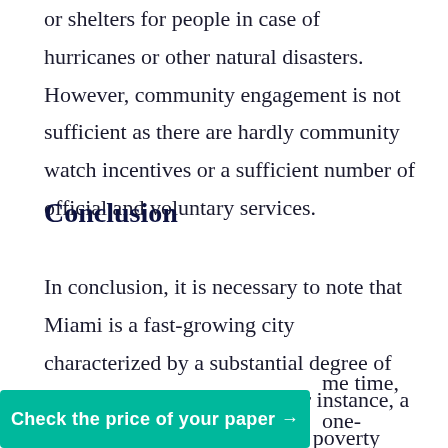or shelters for people in case of hurricanes or other natural disasters. However, community engagement is not sufficient as there are hardly community watch incentives or a sufficient number of official and voluntary services.
Conclusion
In conclusion, it is necessary to note that Miami is a fast-growing city characterized by a substantial degree of disparity in many spheres. For instance, a quarter of the residents live in poverty while the city is often regarded as home to the best luxury resorts and celebrities' property. People's lifestyles are mainly shaped by their socioeconomic status. Healthcare accessibility is quite high as the number of healthcare [facilities has grown. At the same time, one-